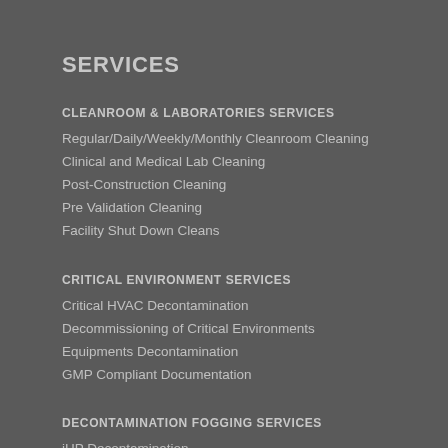SERVICES
CLEANROOM & LABORATORIES SERVICES
Regular/Daily/Weekly/Monthly Cleanroom Cleaning
Clinical and Medical Lab Cleaning
Post-Construction Cleaning
Pre Validation Cleaning
Facility Shut Down Cleans
CRITICAL ENVIRONMENT SERVICES
Critical HVAC Decontamination
Decommissioning of Critical Environments
Equipments Decontamination
GMP Compliant Documentation
DECONTAMINATION FOGGING SERVICES
iHP Decontamination
Trained Technicians
Safety Action Plan